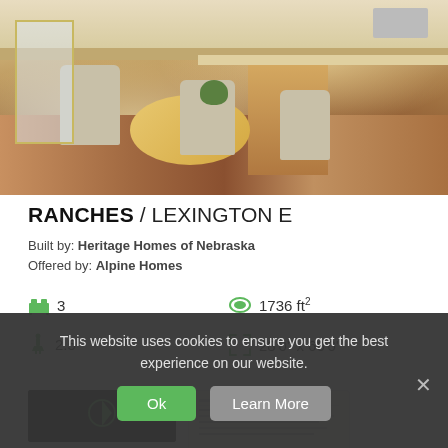[Figure (photo): Interior photo of a kitchen/dining room with light wood cabinetry, round dining table with chairs, and hardwood floors]
RANCHES / LEXINGTON E
Built by: Heritage Homes of Nebraska
Offered by: Alpine Homes
3 bedrooms | 2.5 bathrooms | 1736 ft² | 28'0" x 60'0"
This website uses cookies to ensure you get the best experience on our website.